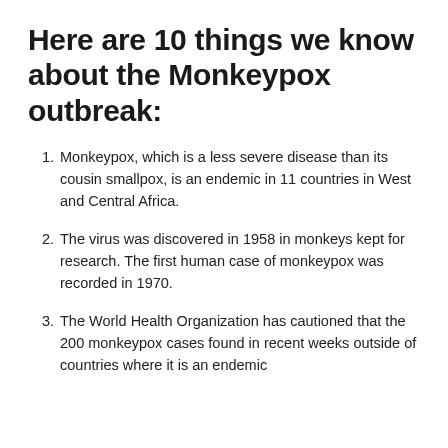Here are 10 things we know about the Monkeypox outbreak:
Monkeypox, which is a less severe disease than its cousin smallpox, is an endemic in 11 countries in West and Central Africa.
The virus was discovered in 1958 in monkeys kept for research. The first human case of monkeypox was recorded in 1970.
The World Health Organization has cautioned that the 200 monkeypox cases found in recent weeks outside of countries where it is an endemic